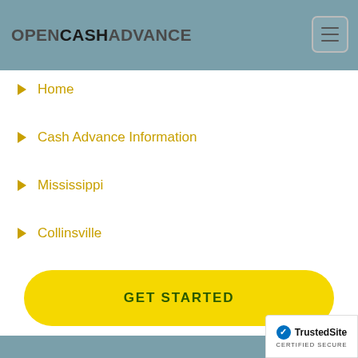OPENCASHADVANCE
Home
Cash Advance Information
Mississippi
Collinsville
GET STARTED
CASH ADVANCE AND PAYDAY LOANS IN COLLINSVILLE, MS.
[Figure (logo): TrustedSite Certified Secure badge]